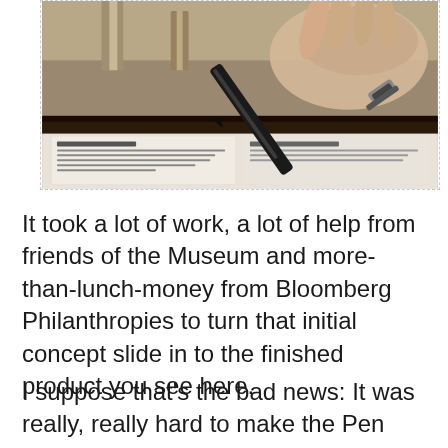[Figure (photo): A hand holding a black pen or stylus pointing at an open book or flat display panel on a museum exhibit surface, with architectural columns visible in the background. The display shows text columns with document content.]
It took a lot of work, a lot of help from friends of the Museum and more-than-lunch-money from Bloomberg Philanthropies to turn that initial concept slide in to the finished product you see here.
I suppose that's the bad news: It was really, really hard to make the Pen come to fruition.